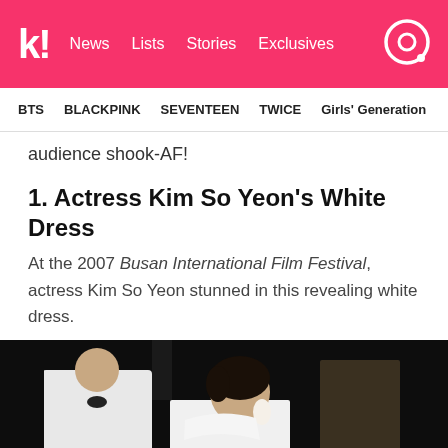k! News Lists Stories Exclusives
BTS BLACKPINK SEVENTEEN TWICE Girls' Generation
audience shook-AF!
1. Actress Kim So Yeon's White Dress
At the 2007 Busan International Film Festival, actress Kim So Yeon stunned in this revealing white dress.
[Figure (photo): A woman in a white dress at the 2007 Busan International Film Festival, with a man in a white suit visible to the left. Dark background.]